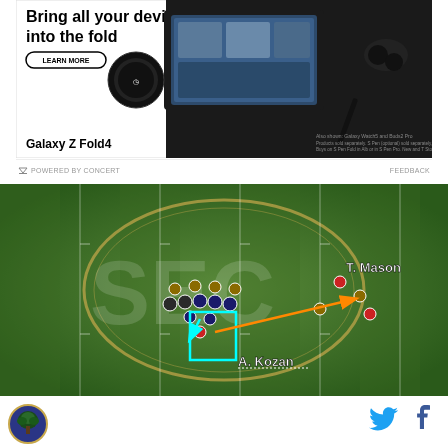[Figure (advertisement): Samsung Galaxy Z Fold4 advertisement showing 'Bring all your devices into the fold' with a LEARN MORE button and product image of the phone, watch, and earbuds]
POWERED BY CONCERT   FEEDBACK
[Figure (photo): Aerial football field view on SEC logo at midfield showing players in formation. Annotations label T. Mason and A. Kozan with cyan box around a player and orange arrow pointing right.]
[Figure (logo): Circular team logo with tree/oak design on blue background with gold border]
[Figure (other): Twitter bird social share icon in blue]
[Figure (other): Facebook f social share icon in dark blue]